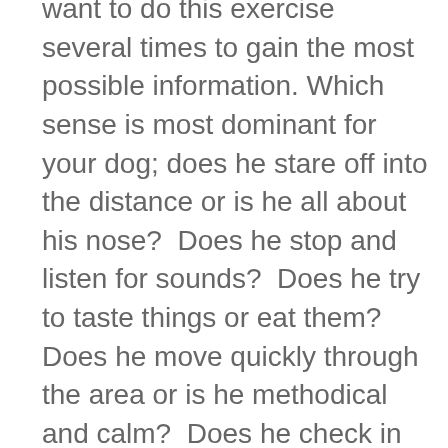want to do this exercise several times to gain the most possible information. Which sense is most dominant for your dog; does he stare off into the distance or is he all about his nose? Does he stop and listen for sounds? Does he try to taste things or eat them? Does he move quickly through the area or is he methodical and calm? Does he check in with you, and if so, after how long? Is he frantic? Does he enjoy this exercise or does it make him stressed?